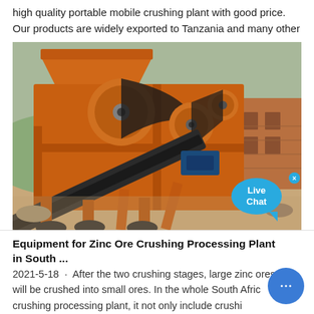high quality portable mobile crushing plant with good price. Our products are widely exported to Tanzania and many other
[Figure (photo): Orange portable mobile crushing plant / jaw crusher machine photographed outdoors at a construction or mining site. Large industrial orange-painted equipment with belts, pulleys, and conveyor. Brick building visible in background.]
Equipment for Zinc Ore Crushing Processing Plant in South ...
2021-5-18 · After the two crushing stages, large zinc ores will be crushed into small ores. In the whole South Africa ore crushing processing plant, it not only include crushing equipment, but also include vibrating feeder, vibrating screen,